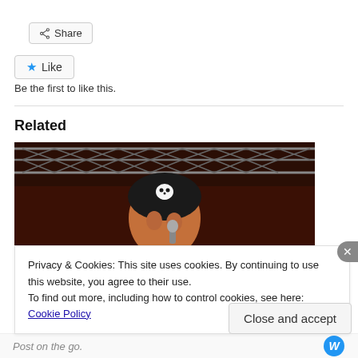[Figure (other): Share button with share icon]
[Figure (other): Like button with blue star icon]
Be the first to like this.
Related
[Figure (photo): Photo of a singer/performer wearing a black skull-and-crossbones bandana, singing into a microphone on stage with metal truss structure in the background]
Privacy & Cookies: This site uses cookies. By continuing to use this website, you agree to their use.
To find out more, including how to control cookies, see here: Cookie Policy
Close and accept
Post on the go.